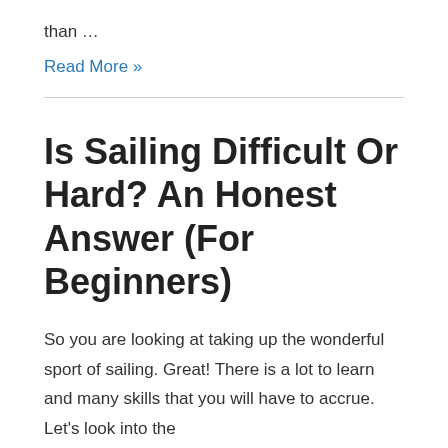than …
Read More »
Is Sailing Difficult Or Hard? An Honest Answer (For Beginners)
So you are looking at taking up the wonderful sport of sailing. Great! There is a lot to learn and many skills that you will have to accrue. Let's look into the easy and difficult parts of sailing: Here's How Difficult Sailing Is Difficulties of sailing will …